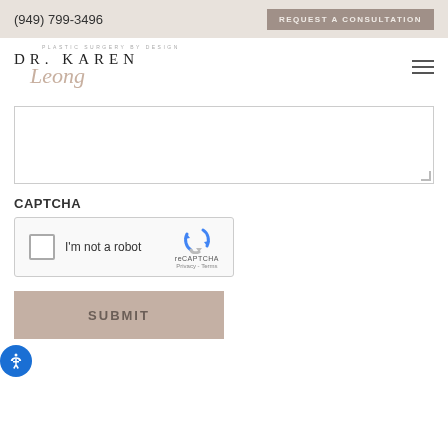(949) 799-3496 | REQUEST A CONSULTATION
[Figure (logo): Dr. Karen Leong plastic surgery logo with script text]
[Figure (other): Text area input field (form element)]
CAPTCHA
[Figure (other): reCAPTCHA widget with checkbox 'I'm not a robot' and reCAPTCHA logo with Privacy - Terms links]
[Figure (other): SUBMIT button]